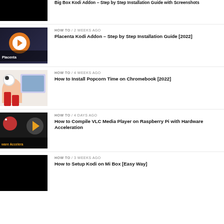HOW TO / 2 weeks ago — Placenta Kodi Addon – Step by Step Installation Guide [2022]
HOW TO / 4 weeks ago — How to Install Popcorn Time on Chromebook [2022]
HOW TO / 4 days ago — How to Compile VLC Media Player on Raspberry Pi with Hardware Acceleration
HOW TO / 3 weeks ago — How to Setup Kodi on Mi Box [Easy Way]